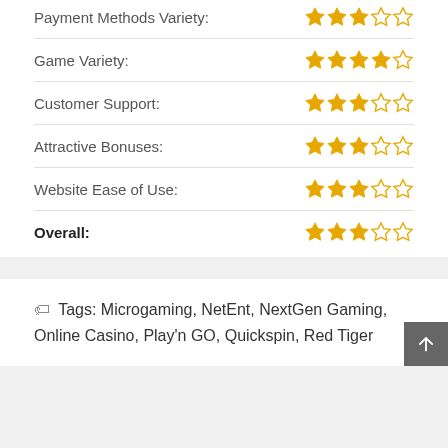Payment Methods Variety: ★★★☆☆
Game Variety: ★★★★☆
Customer Support: ★★★☆☆
Attractive Bonuses: ★★★☆☆
Website Ease of Use: ★★★☆☆
Overall: ★★★☆☆
Tags: Microgaming, NetEnt, NextGen Gaming, Online Casino, Play'n GO, Quickspin, Red Tiger